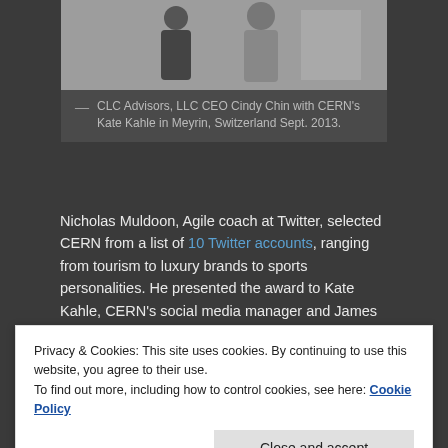[Figure (photo): Two people standing together, photo taken at CERN in Meyrin, Switzerland]
— CLC Advisors, LLC CEO Cindy Chin with CERN's Kate Kahle in Meyrin, Switzerland Sept. 2013.
Nicholas Muldoon, Agile coach at Twitter, selected CERN from a list of 10 Twitter accounts, ranging from tourism to luxury brands to sports personalities. He presented the award to Kate Kahle, CERN's social media manager and James Gillies, CERN's head of communication.
"I chose the @CERN account for a number of reasons,"
Privacy & Cookies: This site uses cookies. By continuing to use this website, you agree to their use.
To find out more, including how to control cookies, see here: Cookie Policy
her acceptance speech, "The World Wide Web began at